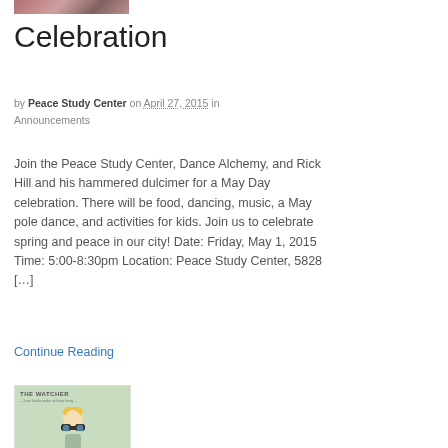[Figure (photo): Partial image at top, appears to be a crowd or outdoor scene with muted reddish-brown tones.]
Celebration
by Peace Study Center on April 27, 2015 in Announcements
Join the Peace Study Center, Dance Alchemy, and Rick Hill and his hammered dulcimer for a May Day celebration. There will be food, dancing, music, a May pole dance, and activities for kids. Join us to celebrate spring and peace in our city! Date: Friday, May 1, 2015 Time: 5:00-8:30pm Location: Peace Study Center, 5828 […]
Continue Reading
[Figure (photo): Book cover image for 'The Watcher' — light green background with illustrated figure of a person with binoculars.]